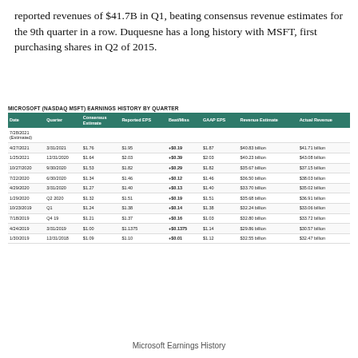reported revenues of $41.7B in Q1, beating consensus revenue estimates for the 9th quarter in a row. Duquesne has a long history with MSFT, first purchasing shares in Q2 of 2015.
MICROSOFT (NASDAQ MSFT) EARNINGS HISTORY BY QUARTER
| Date | Quarter | Consensus Estimate | Reported EPS | Beat/Miss | GAAP EPS | Revenue Estimate | Actual Revenue |
| --- | --- | --- | --- | --- | --- | --- | --- |
| 7/28/2021 (Estimated) |  |  |  |  |  |  |  |
| 4/27/2021 | 3/31/2021 | $1.76 | $1.95 | +$0.19 | $1.87 | $40.83 billion | $41.71 billion |
| 1/25/2021 | 12/31/2020 | $1.64 | $2.03 | +$0.39 | $2.03 | $40.23 billion | $43.08 billion |
| 10/27/2020 | 9/30/2020 | $1.53 | $1.82 | +$0.29 | $1.82 | $35.67 billion | $37.15 billion |
| 7/22/2020 | 6/30/2020 | $1.34 | $1.46 | +$0.12 | $1.46 | $36.50 billion | $38.03 billion |
| 4/29/2020 | 3/31/2020 | $1.27 | $1.40 | +$0.13 | $1.40 | $33.70 billion | $35.02 billion |
| 1/29/2020 | Q2 2020 | $1.32 | $1.51 | +$0.19 | $1.51 | $35.68 billion | $36.91 billion |
| 10/23/2019 | Q1 | $1.24 | $1.38 | +$0.14 | $1.38 | $32.24 billion | $33.06 billion |
| 7/18/2019 | Q4 19 | $1.21 | $1.37 | +$0.16 | $1.03 | $32.80 billion | $33.72 billion |
| 4/24/2019 | 3/31/2019 | $1.00 | $1.1375 | +$0.1375 | $1.14 | $29.86 billion | $30.57 billion |
| 1/30/2019 | 12/31/2018 | $1.09 | $1.10 | +$0.01 | $1.12 | $32.55 billion | $32.47 billion |
Microsoft Earnings History